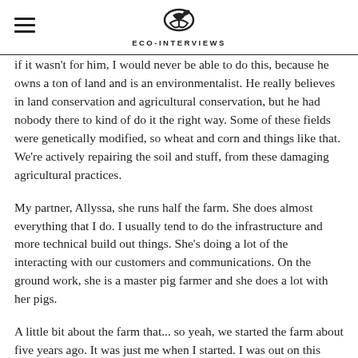THE ECO-INTERVIEWS
if it wasn't for him, I would never be able to do this, because he owns a ton of land and is an environmentalist. He really believes in land conservation and agricultural conservation, but he had nobody there to kind of do it the right way. Some of these fields were genetically modified, so wheat and corn and things like that. We're actively repairing the soil and stuff, from these damaging agricultural practices.
My partner, Allyssa, she runs half the farm. She does almost everything that I do. I usually tend to do the infrastructure and more technical build out things. She's doing a lot of the interacting with our customers and communications. On the ground work, she is a master pig farmer and she does a lot with her pigs.
A little bit about the farm that... so yeah, we started the farm about five years ago. It was just me when I started. I was out on this land, living out of a canvas